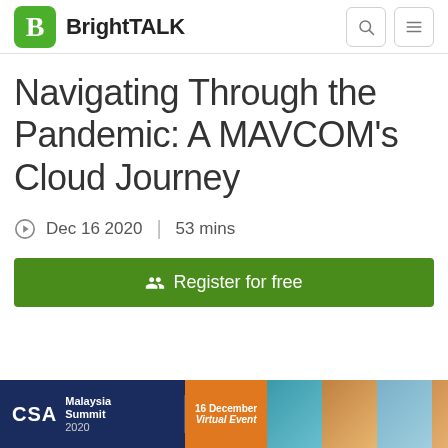BrightTALK
Navigating Through the Pandemic: A MAVCOM's Cloud Journey
Dec 16 2020  |  53 mins
Register for free
[Figure (infographic): CSA Malaysia Summit 2020 banner ad with orange date badge showing '16 December Virtual Event' and people photos on right side]